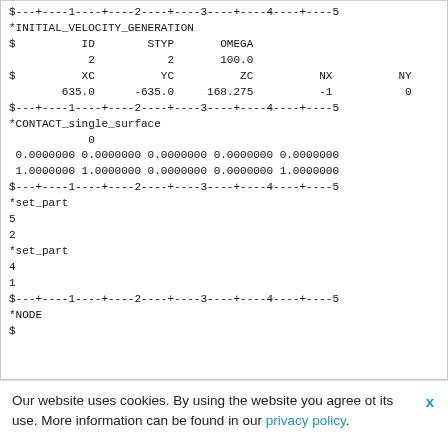$---+----1----+----2----+----3----+----4----+----5
*INITIAL_VELOCITY_GENERATION
$          ID        STYP       OMEGA
2           2       100.0
$          XC          YC          ZC          NX          NY
635.0      -635.0     168.275          -1           0
$---+----1----+----2----+----3----+----4----+----5
*CONTACT_single_surface
0
0.0000000 0.0000000 0.0000000 0.0000000 0.0000000
1.0000000 1.0000000 0.0000000 0.0000000 1.0000000
$---+----1----+----2----+----3----+----4----+----5
*set_part
5
2
*set_part
4
1
$---+----1----+----2----+----3----+----4----+----5
*NODE
$
Our website uses cookies. By using the website you agree ot its use. More information can be found in our privacy policy.